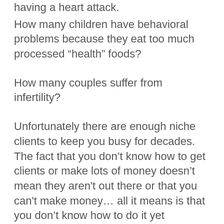having a heart attack.
How many children have behavioral problems because they eat too much processed “health” foods?
How many couples suffer from infertility?
Unfortunately there are enough niche clients to keep you busy for decades. The fact that you don’t know how to get clients or make lots of money doesn’t mean they aren't out there or that you can't make money… all it means is that you don’t know how to do it yet